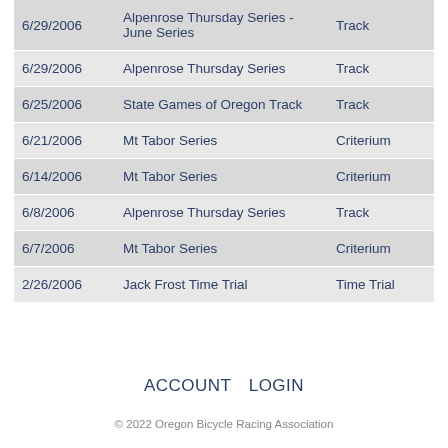| Date | Event | Type |
| --- | --- | --- |
| 6/29/2006 | Alpenrose Thursday Series - June Series | Track |
| 6/29/2006 | Alpenrose Thursday Series | Track |
| 6/25/2006 | State Games of Oregon Track | Track |
| 6/21/2006 | Mt Tabor Series | Criterium |
| 6/14/2006 | Mt Tabor Series | Criterium |
| 6/8/2006 | Alpenrose Thursday Series | Track |
| 6/7/2006 | Mt Tabor Series | Criterium |
| 2/26/2006 | Jack Frost Time Trial | Time Trial |
ACCOUNT   LOGIN
© 2022 Oregon Bicycle Racing Association